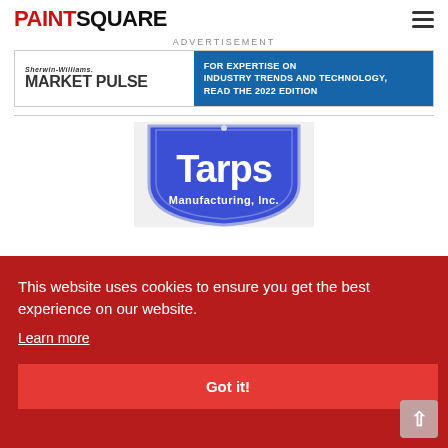PAINTSQUARE
ADVERTISEMENT
[Figure (screenshot): Sherwin-Williams Market Pulse advertisement banner. Left side white background with 'Sherwin-Williams. MARKET PULSE' text. Right side blue background with text 'FOR EXPERTISE ON INDUSTRY TRENDS AND TECHNOLOGY, READ THE 2022 EDITION']
[Figure (logo): Tarps Manufacturing Inc. blue shield-shaped logo with white text reading 'Tarps' large and 'Manufacturing, Inc.' below]
This website uses cookies to ensure you get the best experience on our website.
Learn more
Got it!